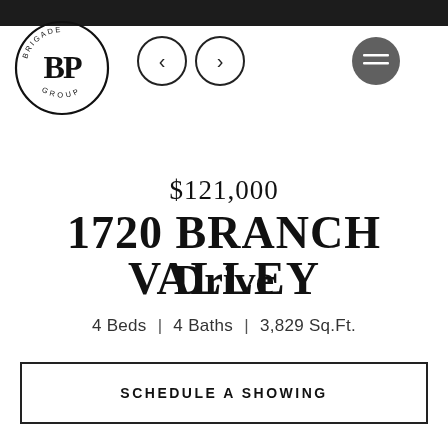[Figure (logo): BP Group circular logo with stylized BP letters and text BRIGADE GROUP around the border]
[Figure (infographic): Navigation arrows (left and right) in circular outlines and a dark circular menu button with hamburger lines]
$121,000
1720 BRANCH VALLEY Drive
4 Beds | 4 Baths | 3,829 Sq.Ft.
SCHEDULE A SHOWING